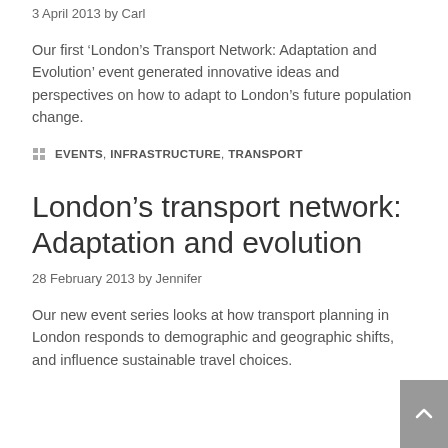3 April 2013 by Carl
Our first ‘London’s Transport Network: Adaptation and Evolution’ event generated innovative ideas and perspectives on how to adapt to London’s future population change.
EVENTS, INFRASTRUCTURE, TRANSPORT
London’s transport network: Adaptation and evolution
28 February 2013 by Jennifer
Our new event series looks at how transport planning in London responds to demographic and geographic shifts, and influence sustainable travel choices.